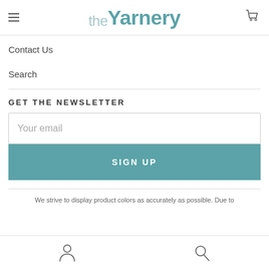the yarnery
Contact Us
Search
GET THE NEWSLETTER
Your email
SIGN UP
We strive to display product colors as accurately as possible. Due to